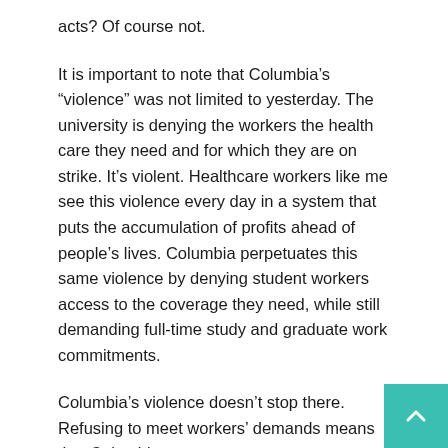acts? Of course not.
It is important to note that Columbia’s “violence” was not limited to yesterday. The university is denying the workers the health care they need and for which they are on strike. It’s violent. Healthcare workers like me see this violence every day in a system that puts the accumulation of profits ahead of people’s lives. Columbia perpetuates this same violence by denying student workers access to the coverage they need, while still demanding full-time study and graduate work commitments.
Columbia’s violence doesn’t stop there. Refusing to meet workers’ demands means that Columbia,